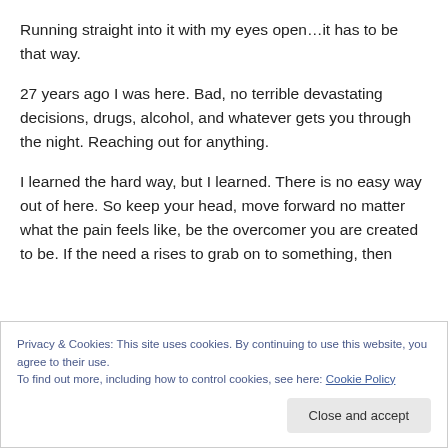Running straight into it with my eyes open…it has to be that way.
27 years ago I was here. Bad, no terrible devastating decisions, drugs, alcohol, and whatever gets you through the night. Reaching out for anything.
I learned the hard way, but I learned. There is no easy way out of here. So keep your head, move forward no matter what the pain feels like, be the overcomer you are created to be. If the need a rises to grab on to something, then
Privacy & Cookies: This site uses cookies. By continuing to use this website, you agree to their use.
To find out more, including how to control cookies, see here: Cookie Policy
Close and accept